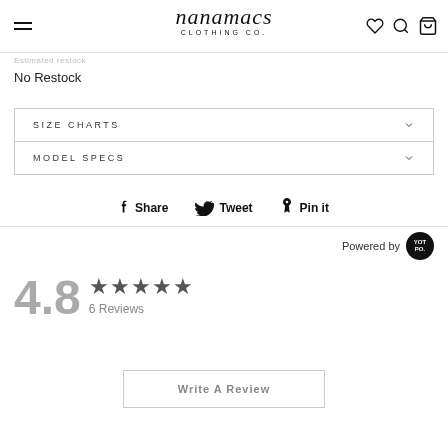[Figure (logo): Nanamacs Clothing Co. logo with hamburger menu and icons]
No Restock
SIZE CHARTS
MODEL SPECS
Share  Tweet  Pin it
Powered by [YotPo]
4.8  ★★★★★  6 Reviews
Write A Review